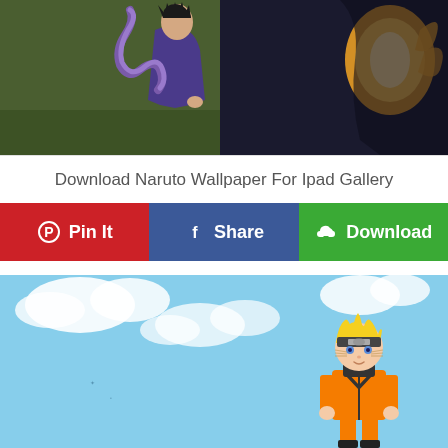[Figure (illustration): Anime illustration showing two characters from Naruto: a dark character in purple robe with purple tentacle/snake on left, and a glowing golden fox-like energy figure on right, against olive/dark background]
Download Naruto Wallpaper For Ipad Gallery
[Figure (infographic): Action bar with three buttons: Pin It (red, Pinterest icon), Share (blue, Facebook icon), Download (green, download cloud icon)]
[Figure (illustration): Anime illustration of Naruto character in orange and black jacket with headband, standing against blue sky with white clouds background]